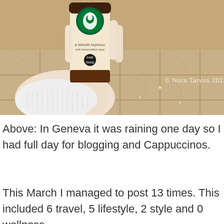[Figure (photo): A hand holding a Starbucks Cappuccino bottled drink indoors, with marble floor tiles visible in the background. A white cloth or tissue is also in the hand. Watermark reads '© Nora Tarvus 2018'.]
Above: In Geneva it was raining one day so I had full day for blogging and Cappuccinos.
This March I managed to post 13 times. This included 6 travel, 5 lifestyle, 2 style and 0 wellness